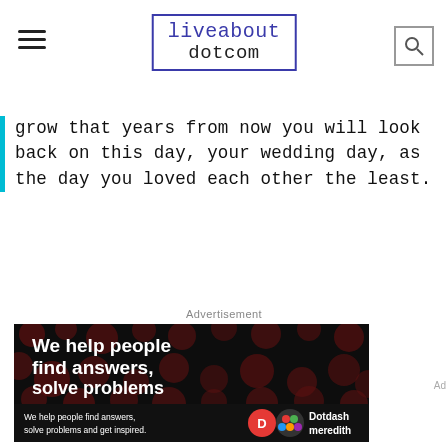liveabout dotcom
grow that years from now you will look back on this day, your wedding day, as the day you loved each other the least.
Advertisement
[Figure (photo): Advertisement image with dark background and polka dot pattern. Large white bold text reads: 'We help people find answers, solve problems and get inspired.' Bottom bar shows smaller text 'We help people find answers, solve problems and get inspired.' with Dotdash Meredith logo.]